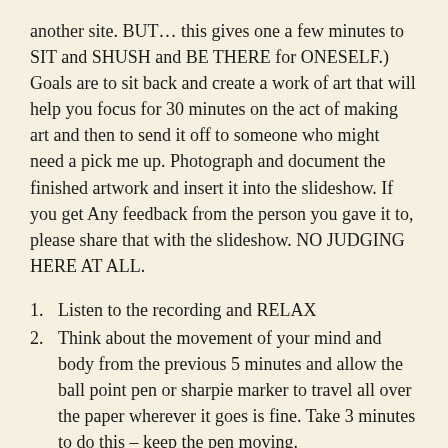another site. BUT… this gives one a few minutes to SIT and SHUSH and BE THERE for ONESELF.) Goals are to sit back and create a work of art that will help you focus for 30 minutes on the act of making art and then to send it off to someone who might need a pick me up. Photograph and document the finished artwork and insert it into the slideshow. If you get Any feedback from the person you gave it to, please share that with the slideshow. NO JUDGING HERE AT ALL.
Listen to the recording and RELAX
Think about the movement of your mind and body from the previous 5 minutes and allow the ball point pen or sharpie marker to travel all over the paper wherever it goes is fine. Take 3 minutes to do this – keep the pen moving.
Using colors – and think about a scheme or small gathering of colors – let's take 7 minutes to add color to